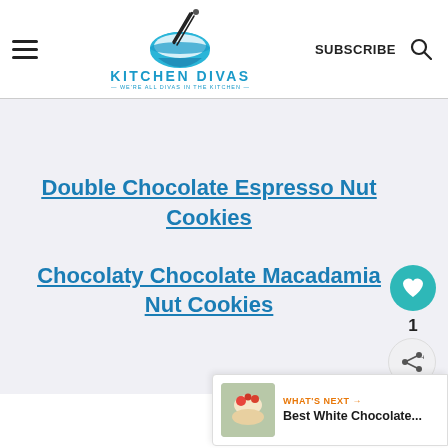KITCHEN DIVAS — WE'RE ALL DIVAS IN THE KITCHEN — SUBSCRIBE
Double Chocolate Espresso Nut Cookies
Chocolaty Chocolate Macadamia Nut Cookies
1
WHAT'S NEXT → Best White Chocolate...